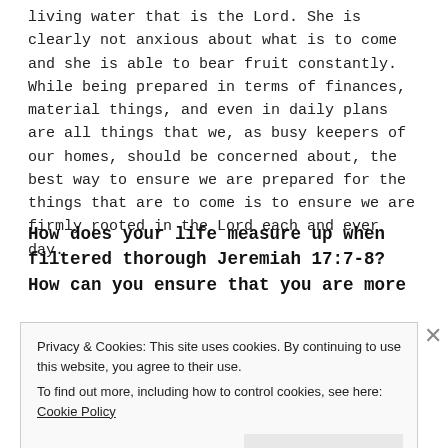living water that is the Lord. She is clearly not anxious about what is to come and she is able to bear fruit constantly.  While being prepared in terms of finances, material things, and even in daily plans are all things that we, as busy keepers of our homes, should be concerned about, the best way to ensure we are prepared for the things that are to come is to ensure we are firmly rooted in the Lord each and ever day.
How does your life measure up when filtered thorough Jeremiah 17:7-8? How can you ensure that you are more
Privacy & Cookies: This site uses cookies. By continuing to use this website, you agree to their use.
To find out more, including how to control cookies, see here: Cookie Policy
Close and accept